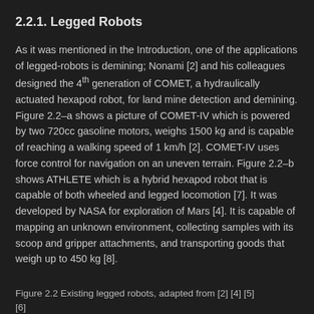2.2.1. Legged Robots
As it was mentioned in the Introduction, one of the applications of legged-robots is demining; Nonami [2] and his colleagues designed the 4th generation of COMET, a hydraulically actuated hexapod robot, for land mine detection and demining. Figure 2.2–a shows a picture of COMET-IV which is powered by two 720cc gasoline motors, weighs 1500 kg and is capable of reaching a walking speed of 1 km/h [2]. COMET-IV uses force control for navigation on an uneven terrain. Figure 2.2–b shows ATHLETE which is a hybrid hexapod robot that is capable of both wheeled and legged locomotion [7]. It was developed by NASA for exploration of Mars [4]. It is capable of mapping an unknown environment, collecting samples with its scoop and gripper attachments, and transporting goods that weigh up to 450 kg [8].
Figure 2.2 Existing legged robots, adapted from [2] [4] [5] [6]